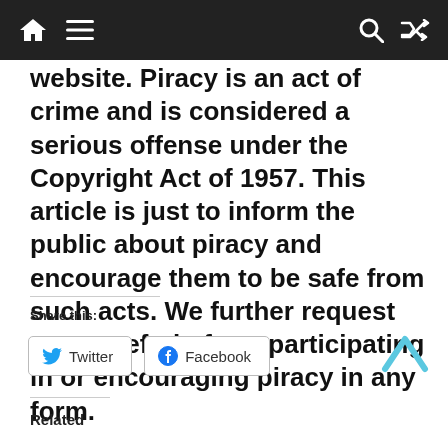Navigation bar with home, menu, search, and shuffle icons
website. Piracy is an act of crime and is considered a serious offense under the Copyright Act of 1957. This article is just to inform the public about piracy and encourage them to be safe from such acts. We further request you to refrain from participating in or encouraging piracy in any form.
Share this:
Twitter  Facebook
Related